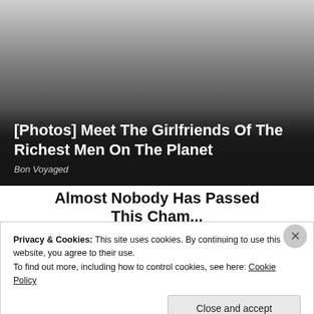[Figure (photo): Hero image with dark gradient overlay showing misty/foggy sky background]
[Photos] Meet The Girlfriends Of The Richest Men On The Planet
Bon Voyaged
Almost Nobody Has Passed This Championship Quiz
Privacy & Cookies: This site uses cookies. By continuing to use this website, you agree to their use.
To find out more, including how to control cookies, see here: Cookie Policy
Close and accept